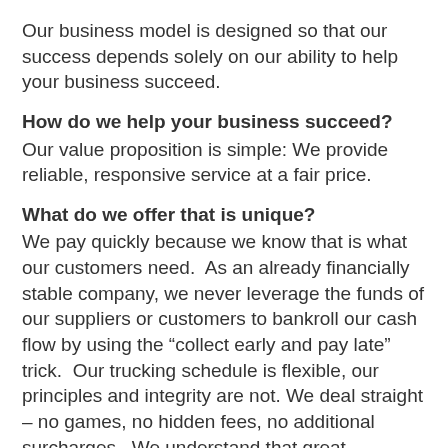Our business model is designed so that our success depends solely on our ability to help your business succeed.
How do we help your business succeed?
Our value proposition is simple: We provide reliable, responsive service at a fair price.
What do we offer that is unique?
We pay quickly because we know that is what our customers need.  As an already financially stable company, we never leverage the funds of our suppliers or customers to bankroll our cash flow by using the “collect early and pay late” trick.  Our trucking schedule is flexible, our principles and integrity are not. We deal straight – no games, no hidden fees, no additional surcharges.  We understand that great customer service can NEVER be out bid, low-balled,